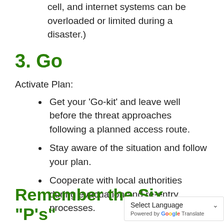cell, and internet systems can be overloaded or limited during a disaster.)
3. Go
Activate Plan:
Get your ‘Go-kit’ and leave well before the threat approaches following a planned access route.
Stay aware of the situation and follow your plan.
Cooperate with local authorities during evacuation and re-entry processes.
Remember the Six “P’s”